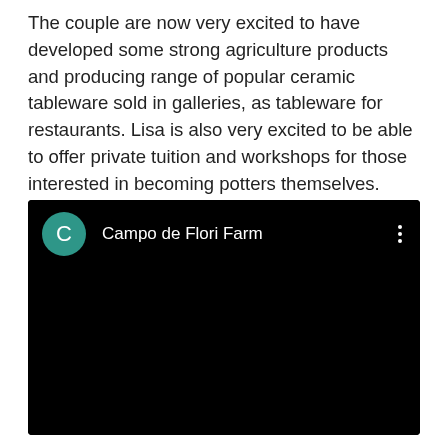The couple are now very excited to have developed some strong agriculture products and producing range of popular ceramic tableware sold in galleries, as tableware for restaurants. Lisa is also very excited to be able to offer private tuition and workshops for those interested in becoming potters themselves.
[Figure (screenshot): A black video player UI panel showing a YouTube-style video entry. On the left is a teal circular avatar with the letter 'C'. Next to it is the text 'Campo de Flori Farm' in white. On the far right are three vertical dots (more options icon). The remainder of the panel is a black video thumbnail area.]